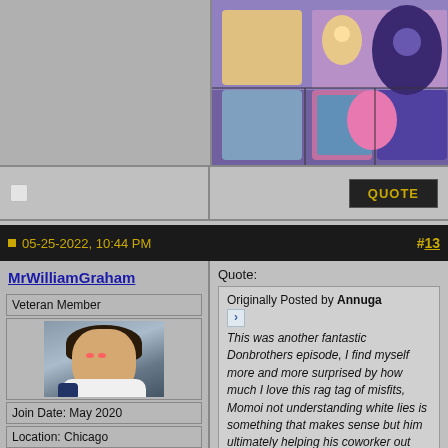[Figure (illustration): Forum banner image: anime-style artwork with colorful characters on right side, gray placeholder on left]
[Figure (other): Checkbox and Quote button row]
05-25-2022, 10:44 PM  #13
MrWilliamGraham
Veteran Member
[Figure (photo): User avatar photo of person with dark hair laughing]
Join Date: May 2020
Location: Chicago
Posts: 1,032
Quote:
Originally Posted by Annuga
This was another fantastic Donbrothers episode, I find myself more and more surprised by how much I love this rag tag of misfits, Momoi not understanding white lies is something that makes sense but him ultimately helping his coworker out shows that just like as a kid, he means well despite how harsh he comes across. Haruka trying to murder her